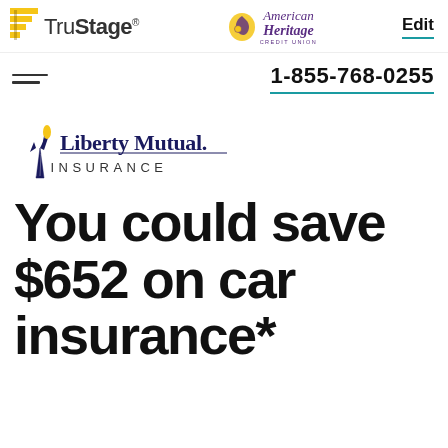[Figure (logo): TruStage logo with yellow stacked bar icon and TruStage wordmark]
[Figure (logo): American Heritage Credit Union logo with leaf/coin emblem and italic script text]
Edit
1-855-768-0255
[Figure (logo): Liberty Mutual Insurance logo with Statue of Liberty torch icon and wordmark]
You could save $652 on car insurance*